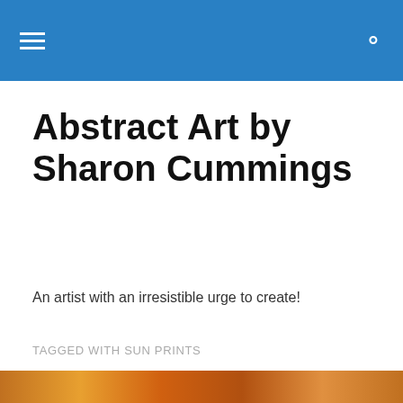[Navigation bar with menu and search icons]
Abstract Art by Sharon Cummings
An artist with an irresistible urge to create!
TAGGED WITH SUN PRINTS
It HURTS…Thank you.
Privacy & Cookies: This site uses cookies. By continuing to use this website, you agree to their use.
To find out more, including how to control cookies, see here: Cookie Policy
Close and accept